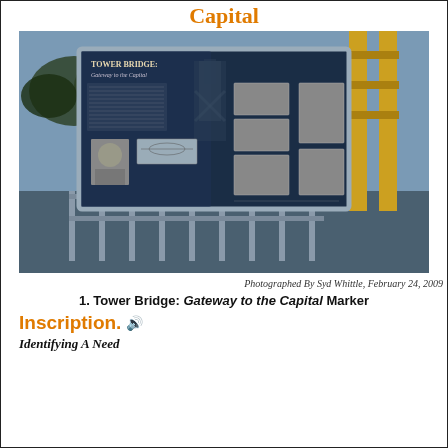Capital
[Figure (photo): A photograph of a historical marker sign titled 'Tower Bridge: Gateway to the Capital', mounted outdoors near a bridge railing. The sign features text and photographs about the Tower Bridge.]
Photographed By Syd Whittle, February 24, 2009
1. Tower Bridge: Gateway to the Capital Marker
Inscription.
Identifying A Need